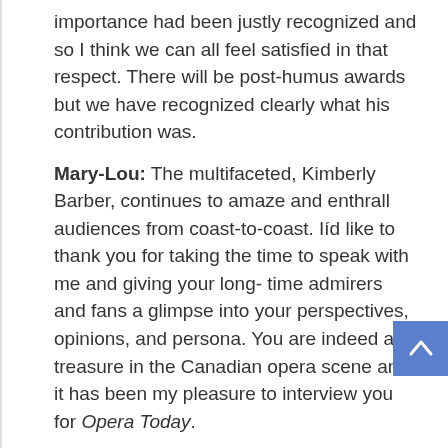importance had been justly recognized and so I think we can all feel satisfied in that respect. There will be post-humus awards but we have recognized clearly what his contribution was.
Mary-Lou: The multifaceted, Kimberly Barber, continues to amaze and enthrall audiences from coast-to-coast. Iíd like to thank you for taking the time to speak with me and giving your long-time admirers and fans a glimpse into your perspectives, opinions, and persona. You are indeed a treasure in the Canadian opera scene and it has been my pleasure to interview you for Opera Today.
Kimberly: It was a pleasure to be interviewed, great questions, and thanks.